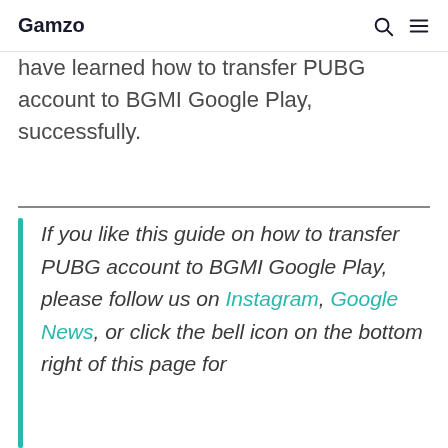Gamzo
have learned how to transfer PUBG account to BGMI Google Play, successfully.
If you like this guide on how to transfer PUBG account to BGMI Google Play, please follow us on Instagram, Google News, or click the bell icon on the bottom right of this page for